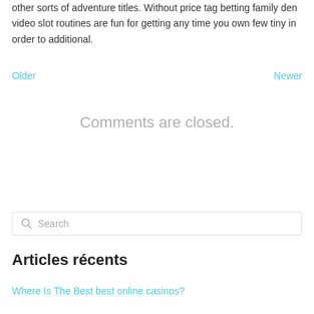other sorts of adventure titles. Without price tag betting family den video slot routines are fun for getting any time you own few tiny in order to additional.
Older
Newer
Comments are closed.
Search
Articles récents
Where Is The Best best online casinos?